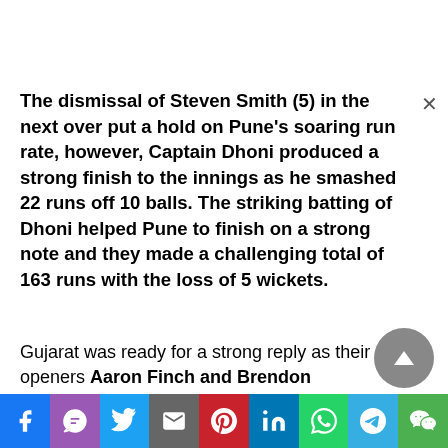The dismissal of Steven Smith (5) in the next over put a hold on Pune's soaring run rate, however, Captain Dhoni produced a strong finish to the innings as he smashed 22 runs off 10 balls. The striking batting of Dhoni helped Pune to finish on a strong note and they made a challenging total of 163 runs with the loss of 5 wickets.
Gujarat was ready for a strong reply as their openers Aaron Finch and Brendon McCullum